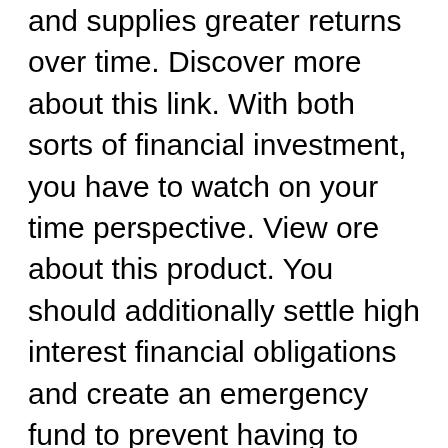and supplies greater returns over time. Discover more about this link. With both sorts of financial investment, you have to watch on your time perspective. View ore about this product. You should additionally settle high interest financial obligations and create an emergency fund to prevent having to borrow money to earn a profit. Check it out! this site. There are particular risks and rewards related to both types of financial investment. Check here for more info. Traders generally take a look at supply costs and also hold them till they have a high-performing rate. View more about this page. Capitalists, on the various other hand, try to time the marketplace and deal. Check it out! this site. But bear in mind that trading entails threat as well as might involve a higher degree of risk than spending. View here for more updates. Unlike spending, which is based upon time, a trader will look at the rate activity of stocks in the marketplace and choose to buy or sell if the rate has increased. Click here for more details. The various other sort of financial investment will certainly hold a stock up